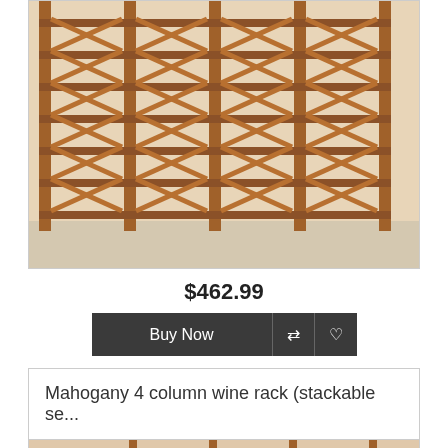[Figure (photo): A large wooden mahogany wine rack with diagonal bottle holders arranged in a grid pattern, photographed on a light background]
$462.99
[Figure (screenshot): Buy Now button with transfer icon and heart/favorite icon, dark gray background]
Mahogany 4 column wine rack (stackable se...
[Figure (photo): Partial view of another mahogany wine rack product image]